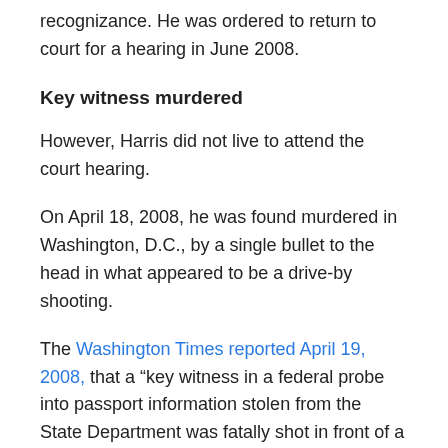recognizance. He was ordered to return to court for a hearing in June 2008.
Key witness murdered
However, Harris did not live to attend the court hearing.
On April 18, 2008, he was found murdered in Washington, D.C., by a single bullet to the head in what appeared to be a drive-by shooting.
The Washington Times reported April 19, 2008, that a “key witness in a federal probe into passport information stolen from the State Department was fatally shot in front of a District church” at close range, around 11 p.m., in the 2800 block of 12th Street NE, according to the Metropolitan Police Department.
Harris, the Washington Times described,